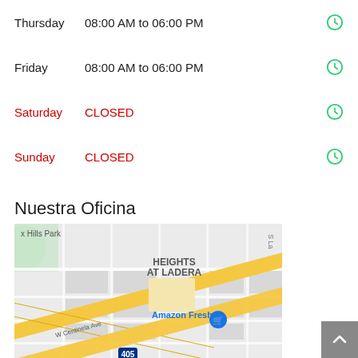Thursday  08:00 AM to 06:00 PM
Friday  08:00 AM to 06:00 PM
Saturday  CLOSED
Sunday  CLOSED
Nuestra Oficina
[Figure (map): Google Maps view showing Heights at Ladera neighborhood, Amazon Fresh location, W Centinela Ave, and I-405 freeway]